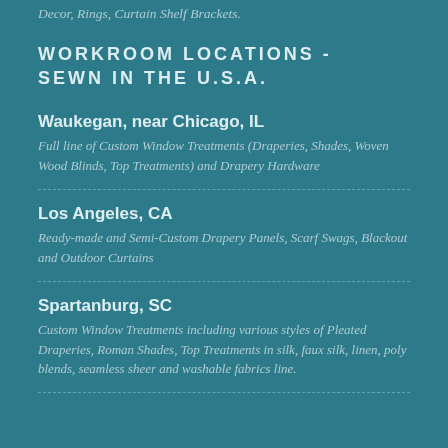Decor, Rings, Curtain Shelf Brackets.
WORKROOM LOCATIONS - SEWN IN THE U.S.A.
Waukegan, near Chicago, IL
Full line of Custom Window Treatments (Draperies, Shades, Woven Wood Blinds, Top Treatments) and Drapery Hardware
Los Angeles, CA
Ready-made and Semi-Custom Drapery Panels, Scarf Swags, Blackout and Outdoor Curtains
Spartanburg, SC
Custom Window Treatments including various styles of Pleated Draperies, Roman Shades, Top Treatments in silk, faux silk, linen, poly blends, seamless sheer and washable fabrics line.